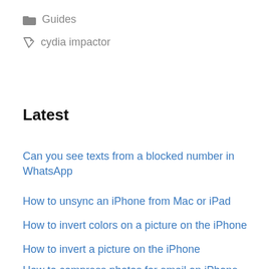📁 Guides
🏷 cydia impactor
Latest
Can you see texts from a blocked number in WhatsApp
How to unsync an iPhone from Mac or iPad
How to invert colors on a picture on the iPhone
How to invert a picture on the iPhone
How to compress photos for email on iPhone